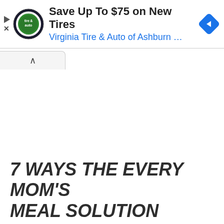[Figure (screenshot): Advertisement banner for Virginia Tire & Auto of Ashburn featuring a circular logo with tire and auto text, headline 'Save Up To $75 on New Tires', subtext 'Virginia Tire & Auto of Ashburn ...', and a blue diamond navigation icon on the right.]
7 WAYS THE EVERY MOM'S MEAL SOLUTION